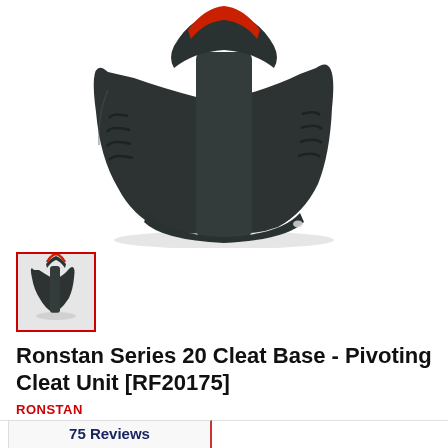[Figure (photo): Close-up photo of a dark grey/black Ronstan Series 20 Cleat Base - Pivoting Cleat Unit hardware fitting, shown against a white background. The device has a rounded base with textured grip ridges and a red accent at the top.]
[Figure (photo): Small thumbnail image of the same Ronstan cleat unit, shown in a red-bordered selection box.]
Ronstan Series 20 Cleat Base - Pivoting Cleat Unit [RF20175]
RONSTAN
75 Reviews
ShopperApproved